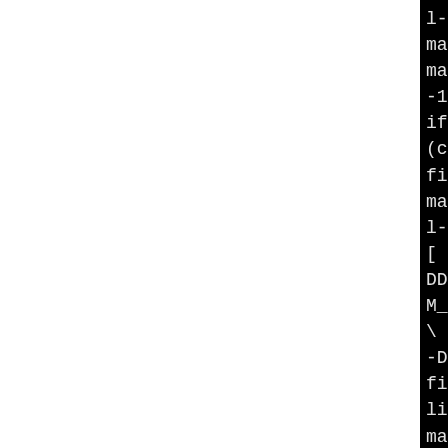l-1.0.2h/crypto/cmac'
make[2]: Nothing to be don
make[2]: Leaving directory
-1.0.2h/crypto/cmac'
if [ -n "libcrypto.so.1.0.
(cd ..; /usr/bin/make libc
fi
make[2]: Entering director
l-1.0.2h'
[ -z "" ] || gcc -fPIC -DC
DDSO_DLFCN -DHAVE_DLFCN_H
M_MONT -DSHA1_ASM -DSHA256
\
-DFINGERPRINT_PREMAIN_DSO_
fips_premain.c fipscaniste
libcrypto.a -ldl -lz
make[3]: Entering director
l-1.0.2h'
make[4]: Entering director
l-1.0.2h'
make[4]: Leaving directory
-1.0.2h'
make[4]: Entering director
l-1.0.2h'